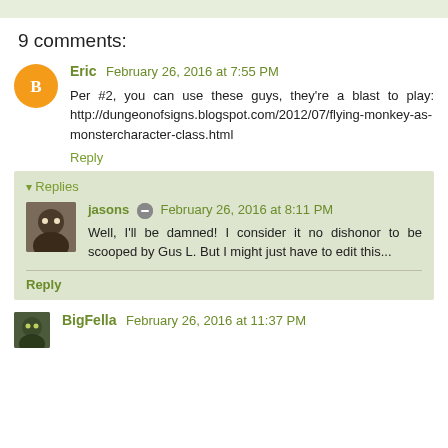9 comments:
Eric   February 26, 2016 at 7:55 PM
Per #2, you can use these guys, they're a blast to play: http://dungeonofsigns.blogspot.com/2012/07/flying-monkey-as-monstercharacter-class.html
Reply
Replies
jasons  February 26, 2016 at 8:11 PM
Well, I'll be damned! I consider it no dishonor to be scooped by Gus L. But I might just have to edit this...
Reply
BigFella   February 26, 2016 at 11:37 PM